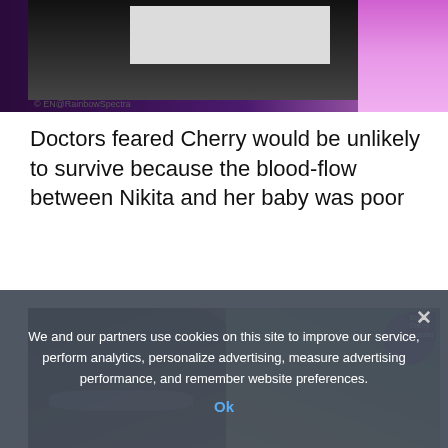[Figure (screenshot): Top portion of a video/image showing dark purple and pink gradient background with a dark rectangle and lighter inner rectangle, partially cropped]
© EN@RainbowSpectra
Doctors feared Cherry would be unlikely to survive because the blood-flow between Nikita and her baby was poor
[Figure (photo): A woman with glasses looking at a premature baby in a hospital incubator]
We and our partners use cookies on this site to improve our service, perform analytics, personalize advertising, measure advertising performance, and remember website preferences.
Ok